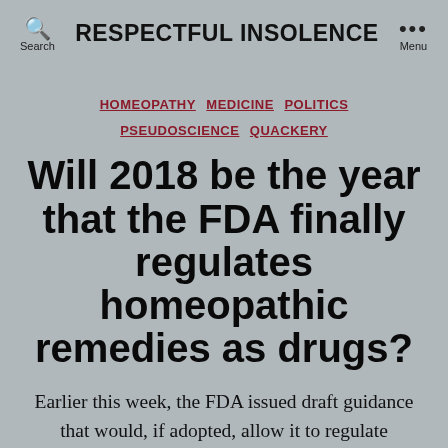RESPECTFUL INSOLENCE
HOMEOPATHY  MEDICINE  POLITICS  PSEUDOSCIENCE  QUACKERY
Will 2018 be the year that the FDA finally regulates homeopathic remedies as drugs?
Earlier this week, the FDA issued draft guidance that would, if adopted, allow it to regulate homeopathic remedies as drugs. Will 2018 be the year that the FDA finally stops